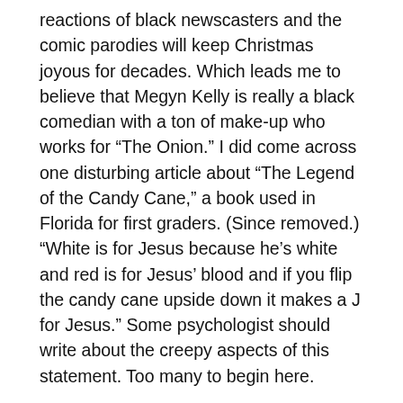reactions of black newscasters and the comic parodies will keep Christmas joyous for decades. Which leads me to believe that Megyn Kelly is really a black comedian with a ton of make-up who works for “The Onion.” I did come across one disturbing article about “The Legend of the Candy Cane,” a book used in Florida for first graders. (Since removed.) “White is for Jesus because he’s white and red is for Jesus’ blood and if you flip the candy cane upside down it makes a J for Jesus.” Some psychologist should write about the creepy aspects of this statement. Too many to begin here.
.
2) The dueling billboards outside Lincoln Tunnel in New York took up some media time. The “atheists-hate-Christmas billboards” vs the “Christians-hate-atheists’ billboards” billboard war is getting old now.Both sides